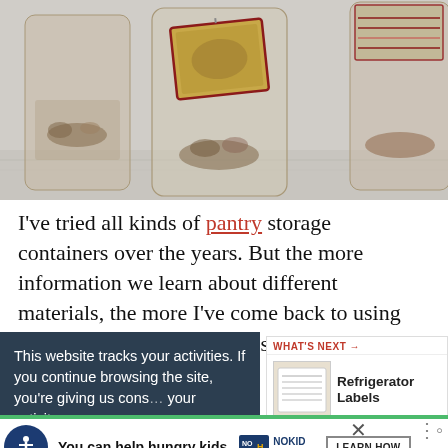[Figure (photo): Photo of glass jars with a decorative tag on a light wood surface, one jar has a vintage-style red-bordered label]
I've tried all kinds of pantry storage containers over the years. But the more information we learn about different materials, the more I've come back to using glass jars and containers to store food in my kitchen. Glass is food safe
This website tracks your activities. If you continue browsing the site, you're giving us consent to track your activity.
[Figure (screenshot): What's Next widget showing Refrigerator Labels with thumbnail image]
[Figure (screenshot): Ad banner: You can help hungry kids. No Kid Hungry. Learn How button.]